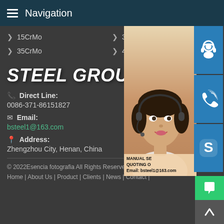Navigation
> 15CrMo
> 30CrMo
> 35CrMo
> 42CrMo
STEEL GROUP
Direct Line: 0086-371-86151827
Email: bsteel1@163.com
Address: Zhengzhou City, Henan, China
[Figure (photo): Customer service representative (woman with headset) overlaid with contact popup showing MANUAL SERVICE, QUOTING, Email: bsteel1@163.com, and three blue icon buttons (headset, phone, Skype)]
© 2022Esencia fotografia All Rights Reserved
Home | About Us | Product | Clients | News | Contact |